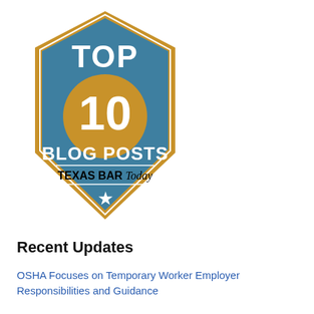[Figure (logo): Top 10 Blog Posts Texas Bar Today badge — a hexagonal shield shape with gold border, teal/steel-blue fill. Text: TOP 10 in white, large numeral 10 in gold, BLOG POSTS in white, Texas Bar Today in black serif/italic, white star at bottom point.]
Recent Updates
OSHA Focuses on Temporary Worker Employer Responsibilities and Guidance